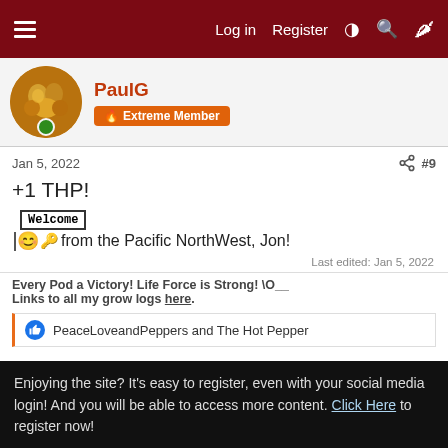Log in  Register  #  (search)  (chili)
PaulG — Extreme Member
Jan 5, 2022   #9
+1 THP!
[Figure (illustration): Welcome sign emoji with smiley face and key icons, followed by text 'from the Pacific NorthWest, Jon!']
Last edited: Jan 5, 2022
Every Pod a Victory! Life Force is Strong! \O__
Links to all my grow logs here.
PeaceLoveandPeppers and The Hot Pepper
Enjoying the site? It's easy to register, even with your social media login! And you will be able to access more content. Click Here to register now!